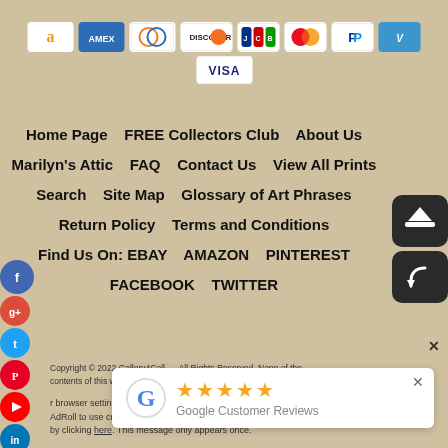[Figure (infographic): Row of payment method icons: Amazon Pay, Amex, Diners Club, Discover, JCB, Mastercard, PayPal, Venmo, Visa]
Home Page   FREE Collectors Club   About Us
Marilyn's Attic   FAQ   Contact Us   View All Prints
Search   Site Map   Glossary of Art Phrases
Return Policy   Terms and Conditions
Find Us On: EBAY   AMAZON   PINTEREST
FACEBOOK   TWITTER
[Figure (infographic): Social media icons sidebar: Facebook, Google+, Twitter, Pinterest, YouTube, LinkedIn, Email]
[Figure (infographic): Two dark rounded-square buttons on right side: upload/eject icon and reply/back icon]
Copyright © 2022 Gallery4Coll... All Rights Reserved. None of the contents of this web site may be r...
r browser settings do not allow cros... ow
AdRoll to use cross-site tracking to tailo... ng
by clicking here. This message only appears once.
[Figure (infographic): Google Customer Reviews popup with 5 gold stars rating and Google G logo]